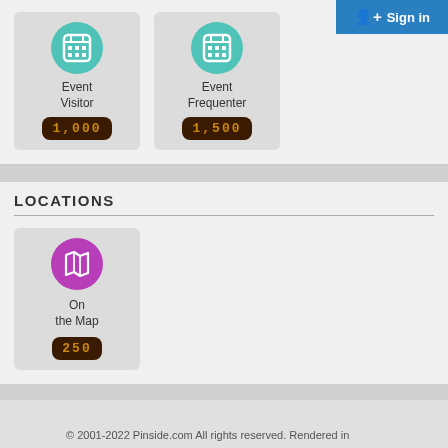[Figure (screenshot): Sign in button, blue background with person icon and text 'Sign in']
[Figure (infographic): Event Visitor badge with teal grid calendar icon and points display '1,000']
[Figure (infographic): Event Frequenter badge with teal grid calendar icon and points display '1,500']
LOCATIONS
[Figure (infographic): On the Map badge with purple map icon and points display '250']
© 2001-2022 Pinside.com All rights reserved. Rendered in 0.03801s